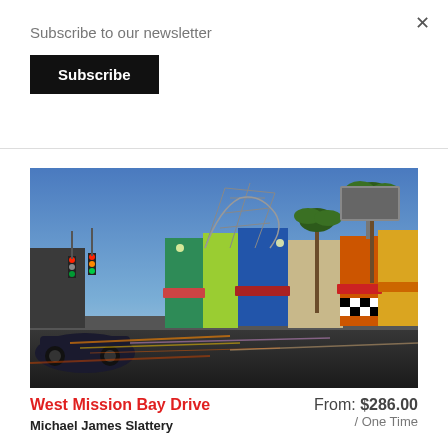×
Subscribe to our newsletter
Subscribe
[Figure (photo): Street scene of West Mission Bay Drive at dusk showing colorful storefronts, a roller coaster in the background, palm trees, traffic lights, and light trails from passing cars.]
West Mission Bay Drive
Michael James Slattery
From: $286.00
/ One Time